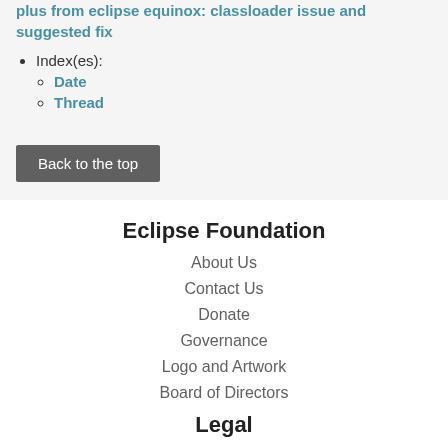plus from eclipse equinox: classloader issue and suggested fix
Index(es):
Date
Thread
Back to the top
Eclipse Foundation
About Us
Contact Us
Donate
Governance
Logo and Artwork
Board of Directors
Legal